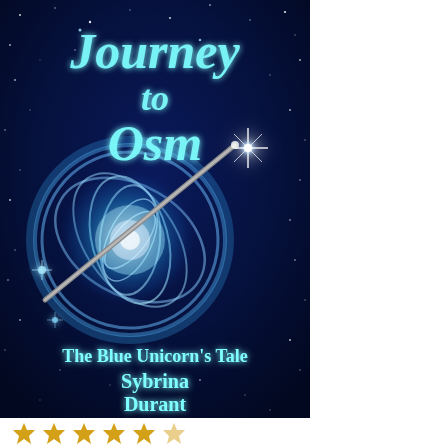[Figure (illustration): Book cover of 'Journey to Osm: The Blue Unicorn's Tale' by Sybrina Durant. Dark navy blue starfield background with a glowing blue swirling vortex/portal in the center containing a metallic wand/horn. A bright star shines in the upper right. Teal/cyan script title text at top, subtitle and author name in teal at the bottom.]
Journey to Osm
The Blue Unicorn's Tale
Sybrina Durant